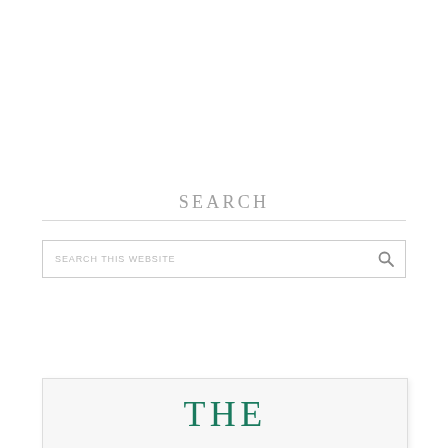SEARCH
[Figure (screenshot): Search box input field with placeholder text 'SEARCH THIS WEBSITE' and a magnifying glass icon on the right]
THE